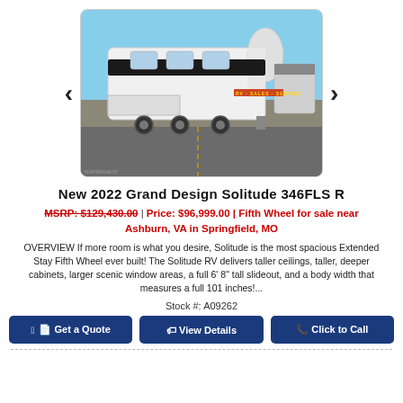[Figure (photo): Photo of a white 2022 Grand Design Solitude 346FLS R fifth wheel RV parked in a dealer lot with blue sky background, shown in a carousel with left/right navigation arrows.]
New 2022 Grand Design Solitude 346FLS R
MSRP: $129,430.00 | Price: $96,999.00 | Fifth Wheel for sale near Ashburn, VA in Springfield, MO
OVERVIEW If more room is what you desire, Solitude is the most spacious Extended Stay Fifth Wheel ever built! The Solitude RV delivers taller ceilings, taller, deeper cabinets, larger scenic window areas, a full 6' 8" tall slideout, and a body width that measures a full 101 inches!...
Stock #: A09262
Get a Quote
View Details
Click to Call